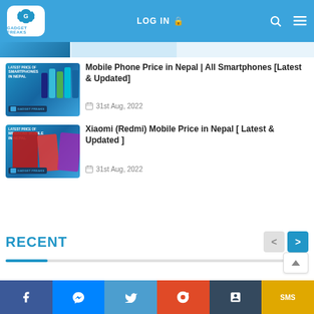Gadget Freaks | LOG IN
[Figure (screenshot): Partial top article thumbnail strip]
[Figure (photo): Smartphones in Nepal thumbnail image with multiple phone images on blue background]
Mobile Phone Price in Nepal | All Smartphones [Latest & Updated]
31st Aug, 2022
[Figure (photo): Xiaomi Redmi Mobile thumbnail image with red phones on blue background]
Xiaomi (Redmi) Mobile Price in Nepal [ Latest & Updated ]
31st Aug, 2022
RECENT
f  Messenger  Twitter  Reddit  Tumblr  SMS